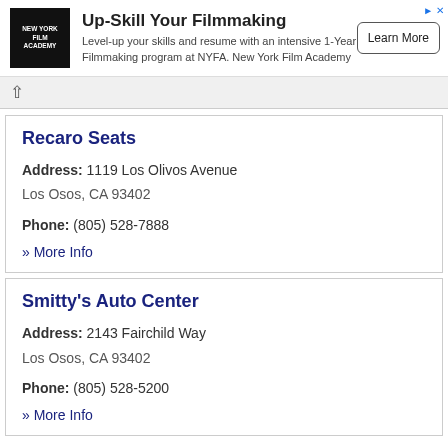[Figure (infographic): Advertisement banner for New York Film Academy featuring NYFA logo, headline 'Up-Skill Your Filmmaking', body text about 1-Year Filmmaking program, and a 'Learn More' button.]
Recaro Seats
Address: 1119 Los Olivos Avenue
Los Osos, CA 93402
Phone: (805) 528-7888
» More Info
Smitty's Auto Center
Address: 2143 Fairchild Way
Los Osos, CA 93402
Phone: (805) 528-5200
» More Info